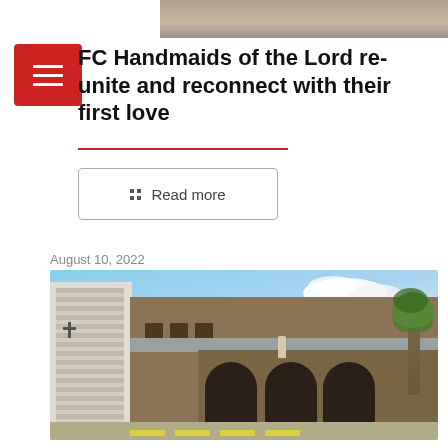[Figure (photo): Top portion of a photo showing a scene, partially cropped at top of page]
FC Handmaids of the Lord re-unite and reconnect with their first love
Read more
August 10, 2022
[Figure (photo): Photo of a church building with white louvered walls on the left, stone/brick walls, arched garage-style openings, a statue in front, a palm tree on the right, and a partly cloudy sky background]